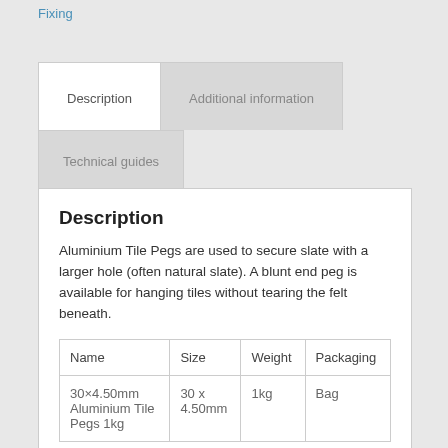Fixing
Description
Additional information
Technical guides
Description
Aluminium Tile Pegs are used to secure slate with a larger hole (often natural slate). A blunt end peg is available for hanging tiles without tearing the felt beneath.
| Name | Size | Weight | Packaging |
| --- | --- | --- | --- |
| 30×4.50mm Aluminium Tile Pegs 1kg | 30 x 4.50mm | 1kg | Bag |